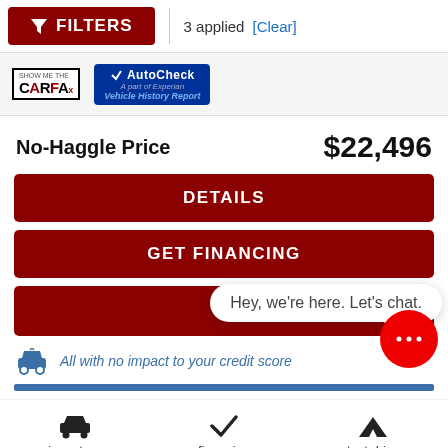[Figure (screenshot): Filter button (dark red) with funnel icon, 3 applied text, and Clear link]
[Figure (logo): CARFAX and AutoCheck Vehicle History Report logos]
No-Haggle Price   $22,496
[Figure (screenshot): DETAILS button (dark red)]
[Figure (screenshot): GET FINANCING button (dark red)]
[Figure (screenshot): Chat button row with Hey, we're here. Let's chat. speech bubble and red chat circle icon]
All with no impact to your credit score
[Figure (screenshot): Bottom navigation bar with inventory, financing, test drive icons]